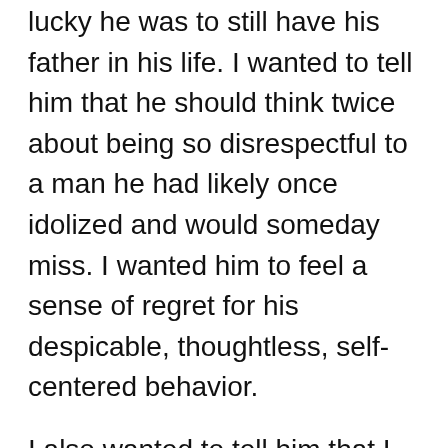lucky he was to still have his father in his life. I wanted to tell him that he should think twice about being so disrespectful to a man he had likely once idolized and would someday miss. I wanted him to feel a sense of regret for his despicable, thoughtless, self-centered behavior.
I also wanted to tell him that I spoke from experience, because I now found myself regretting all of the moments when I had treated my Dad similarly; and in that moment, I realized that I wasn't as angry at that young man as I was angry at myself for not always giving my own Father the respect he rightfully earned.
I can only be grateful that I did let the words